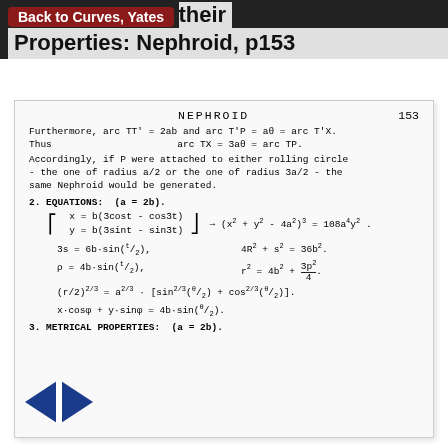Back to Curves, Yates
Annals and their Properties: Nephroid, p153
NEPHROID    153
Furthermore, arc TT' = 2ab and arc T'P = aθ = arc T'X.
Thus                    arc TX = 3aθ = arc TP.
Accordingly, if P were attached to either rolling circle - the one of radius a/2 or the one of radius 3a/2 - the same Nephroid would be generated.
2. EQUATIONS: (a = 2b).
3. METRICAL PROPERTIES: (a = 2b).
[Figure (logo): Blue diamond/rhombus navigation logo with left and right pointing triangles]